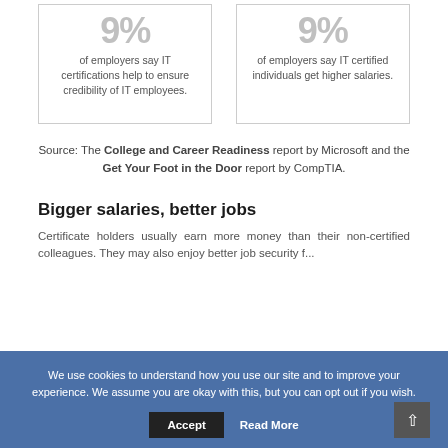[Figure (infographic): Two stat boxes side by side. Left box shows large grey '9%' with text 'of employers say IT certifications help to ensure credibility of IT employees.' Right box shows large grey '9%' with text 'of employers say IT certified individuals get higher salaries.']
Source: The College and Career Readiness report by Microsoft and the Get Your Foot in the Door report by CompTIA.
Bigger salaries, better jobs
Certificate holders usually earn more money than their non-certified colleagues. They may also enjoy better job security f...
We use cookies to understand how you use our site and to improve your experience. We assume you are okay with this, but you can opt out if you wish.